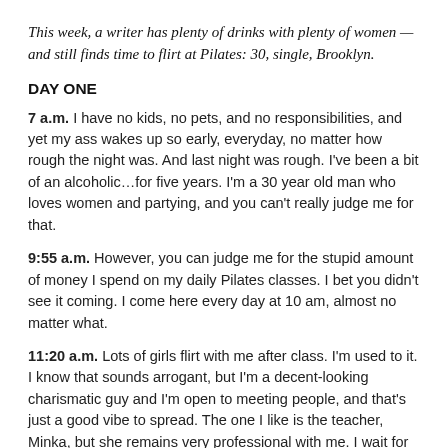This week, a writer has plenty of drinks with plenty of women — and still finds time to flirt at Pilates: 30, single, Brooklyn.
DAY ONE
7 a.m. I have no kids, no pets, and no responsibilities, and yet my ass wakes up so early, everyday, no matter how rough the night was. And last night was rough. I've been a bit of an alcoholic…for five years. I'm a 30 year old man who loves women and partying, and you can't really judge me for that.
9:55 a.m. However, you can judge me for the stupid amount of money I spend on my daily Pilates classes. I bet you didn't see it coming. I come here every day at 10 am, almost no matter what.
11:20 a.m. Lots of girls flirt with me after class. I'm used to it. I know that sounds arrogant, but I'm a decent-looking charismatic guy and I'm open to meeting people, and that's just a good vibe to spread. The one I like is the teacher, Minka, but she remains very professional with me. I wait for her to meet me in the hallway. Sometimes she asks if anyone wants a hot towel…unfortunately today isn't one of